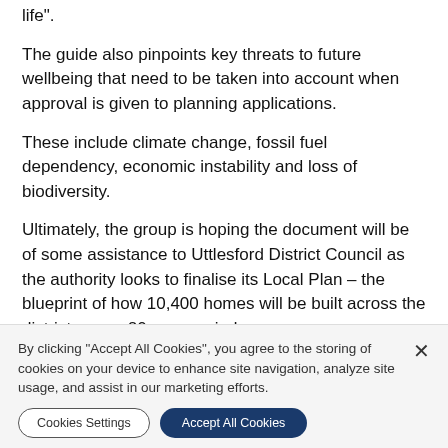life".
The guide also pinpoints key threats to future wellbeing that need to be taken into account when approval is given to planning applications.
These include climate change, fossil fuel dependency, economic instability and loss of biodiversity.
Ultimately, the group is hoping the document will be of some assistance to Uttlesford District Council as the authority looks to finalise its Local Plan – the blueprint of how 10,400 homes will be built across the district over a 20-year period.
"Gl...
By clicking "Accept All Cookies", you agree to the storing of cookies on your device to enhance site navigation, analyze site usage, and assist in our marketing efforts.